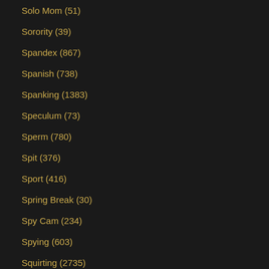Solo Mom (51)
Sorority (39)
Spandex (867)
Spanish (738)
Spanking (1383)
Speculum (73)
Sperm (780)
Spit (376)
Sport (416)
Spring Break (30)
Spy Cam (234)
Spying (603)
Squirting (2735)
Squirting Compilation (51)
Starlet (19)
Stewardess (33)